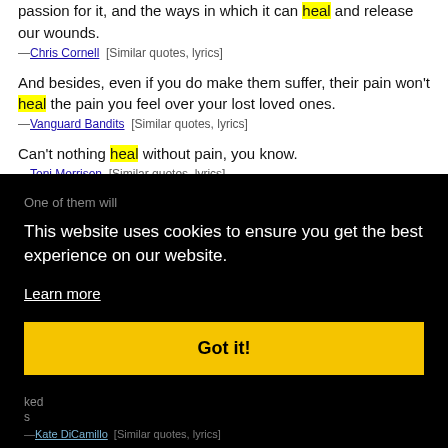My dad and I often talked about music and our mutual passion for it, and the ways in which it can heal and release our wounds.
—Chris Cornell  [Similar quotes, lyrics]
And besides, even if you do make them suffer, their pain won't heal the pain you feel over your lost loved ones.
—Vanguard Bandits  [Similar quotes, lyrics]
Can't nothing heal without pain, you know.
—Toni Morrison  [Similar quotes, lyrics]
[Figure (screenshot): Cookie consent overlay on dark background with text 'This website uses cookies to ensure you get the best experience on our website.', a 'Learn more' link, and a yellow 'Got it!' button. Below the overlay there is a partially visible quote attributed to Kate DiCamillo.]